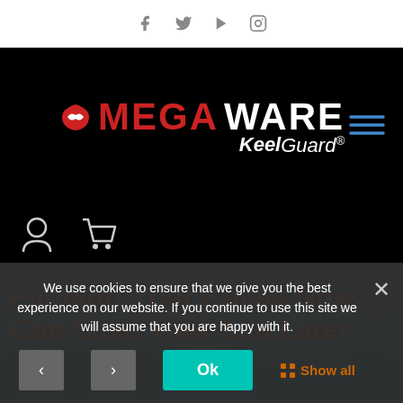Social icons: Facebook, Twitter, Play, Instagram
[Figure (logo): Megaware KeelGuard logo with red shield icon, white and red MEGAWARE text, and KeelGuard italic subtitle on black background]
[Figure (infographic): Hamburger menu icon (three horizontal blue lines) on black background, top right]
[Figure (infographic): User account icon and shopping cart icon in white on black background]
Flipping Your Kayak Now Can Save Your Life Later
We use cookies to ensure that we give you the best experience on our website. If you continue to use this site we will assume that you are happy with it.
[Figure (infographic): Cookie consent action buttons: left arrow, right arrow, Ok (teal), Show all (orange)]